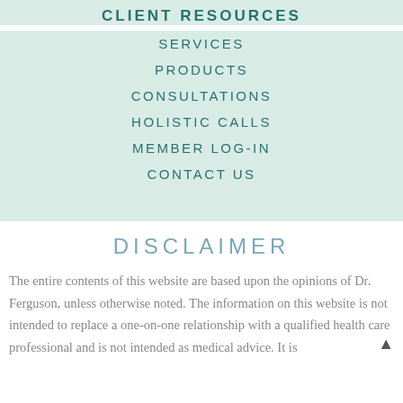CLIENT RESOURCES
SERVICES
PRODUCTS
CONSULTATIONS
HOLISTIC CALLS
MEMBER LOG-IN
CONTACT US
DISCLAIMER
The entire contents of this website are based upon the opinions of Dr. Ferguson, unless otherwise noted. The information on this website is not intended to replace a one-on-one relationship with a qualified health care professional and is not intended as medical advice. It is